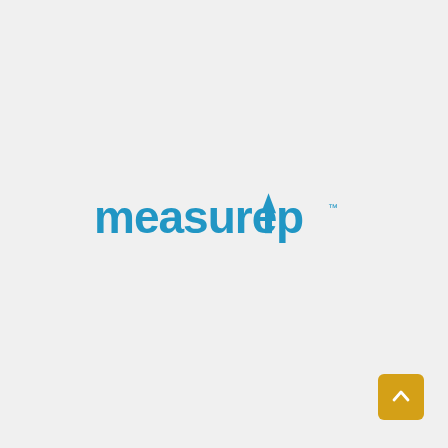[Figure (logo): MeasureUp logo in blue with an upward arrow replacing the 'u' in 'up', with a small TM trademark symbol, centered on a light gray background]
[Figure (other): Yellow/gold rounded square button with a white upward chevron arrow, positioned in the bottom-right corner]